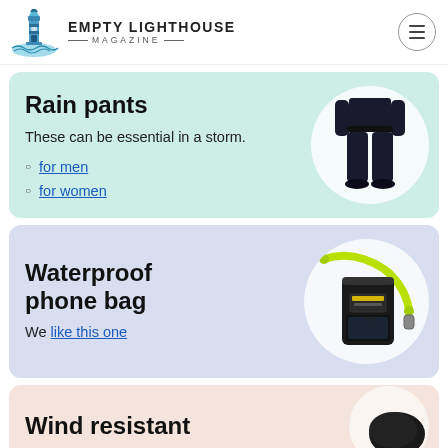Empty Lighthouse Magazine
Rain pants
These can be essential in a storm.
for men
for women
[Figure (photo): Black rain pants on a person]
Waterproof phone bag
We like this one
[Figure (photo): Black waterproof phone bag with yellow/neon green lanyard strap]
Wind resistant